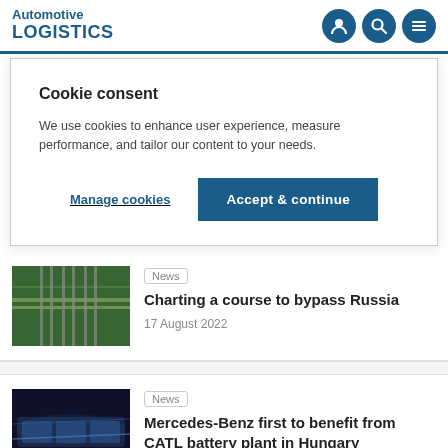Automotive LOGISTICS
Cookie consent
We use cookies to enhance user experience, measure performance, and tailor our content to your needs.
Manage cookies
Accept & continue
News
Charting a course to bypass Russia
17 August 2022
News
Mercedes-Benz first to benefit from CATL battery plant in Hungary
16 August 2022